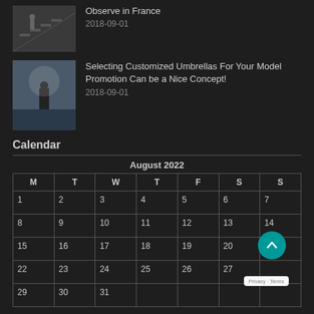[Figure (photo): Thumbnail image of person on stairs (dark/monochrome)]
Observe in France
2018-09-01
[Figure (photo): Thumbnail image of person standing in foggy/digital landscape]
Selecting Customized Umbrellas For Your Model Promotion Can be a Nice Concept!
2018-09-01
Calendar
| M | T | W | T | F | S | S |
| --- | --- | --- | --- | --- | --- | --- |
| 1 | 2 | 3 | 4 | 5 | 6 | 7 |
| 8 | 9 | 10 | 11 | 12 | 13 | 14 |
| 15 | 16 | 17 | 18 | 19 | 20 |  |
| 22 | 23 | 24 | 25 | 26 | 27 |  |
| 29 | 30 | 31 |  |  |  |  |